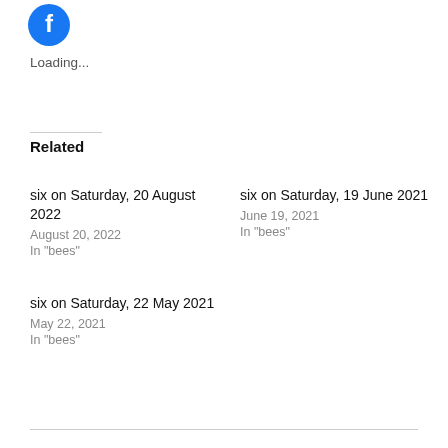[Figure (logo): Facebook icon — circular blue button with white 'f' logo]
Loading...
Related
six on Saturday, 20 August 2022
August 20, 2022
In "bees"
six on Saturday, 19 June 2021
June 19, 2021
In "bees"
six on Saturday, 22 May 2021
May 22, 2021
In "bees"